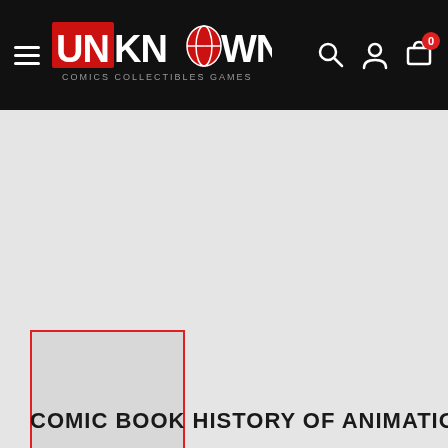Unknown Comics — navigation bar with logo, hamburger menu, search, account, and cart icons
[Figure (logo): Unknown Comics logo — UNKNOWN in red and white stylized lettering with a globe graphic, subtitle reads COMICS COLLECTIBLES GAMES]
[Figure (photo): Product thumbnail placeholder with red border — light grey rectangle representing a comic book cover image]
COMIC BOOK HISTORY OF ANIMATION